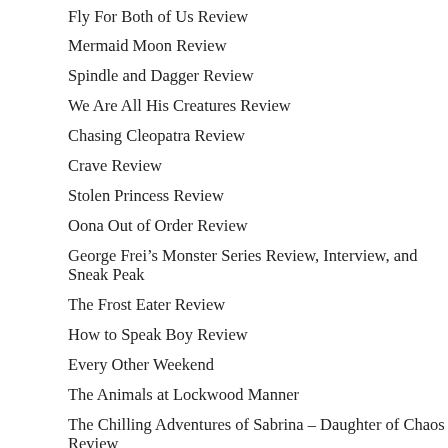Fly For Both of Us Review
Mermaid Moon Review
Spindle and Dagger Review
We Are All His Creatures Review
Chasing Cleopatra Review
Crave Review
Stolen Princess Review
Oona Out of Order Review
George Frei's Monster Series Review, Interview, and Sneak Peak
The Frost Eater Review
How to Speak Boy Review
Every Other Weekend
The Animals at Lockwood Manner
The Chilling Adventures of Sabrina – Daughter of Chaos Review
Don't Call the Wolf Review